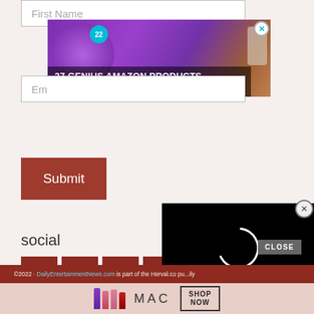[Figure (screenshot): Form input field for First Name, partially visible at top]
[Figure (infographic): Advertisement banner: '37 GENIUS AMAZON PRODUCTS THAT CAN BE USED BY ANYONE' with purple headphones image and number 22 badge, close X button]
[Figure (screenshot): Form input field for Email, partially visible]
Submit
social
[Figure (infographic): Social media icon buttons: Facebook, Twitter, RSS, Email - all in dark red square buttons]
[Figure (screenshot): Video player overlay in black with loading spinner, close X button]
©2022 · DailyEntertainmentNews.com is part of the Herval.co pu...ily
[Figure (infographic): Bottom advertisement: MAC cosmetics lipstick ad with SHOP NOW button, CLOSE button overlay]
CLOSE